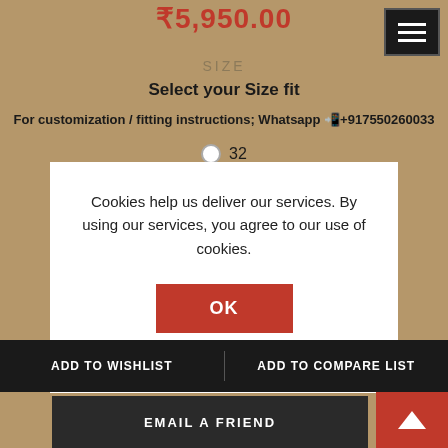₹5,950.00
[Figure (screenshot): Hamburger menu icon button (dark background with three white horizontal lines)]
SIZE
Select your Size fit
For customization / fitting instructions; Whatsapp 📲+917550260033
32
Cookies help us deliver our services. By using our services, you agree to our use of cookies.
OK
Learn more
ADD TO WISHLIST
ADD TO COMPARE LIST
EMAIL A FRIEND